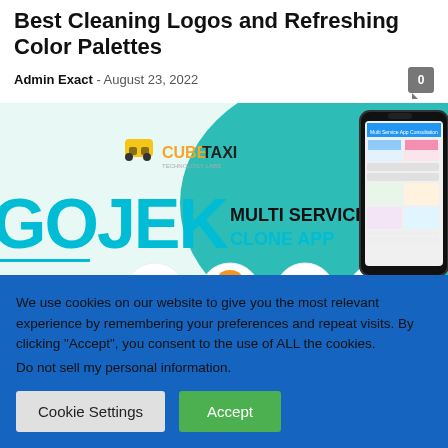Best Cleaning Logos and Refreshing Color Palettes
Admin Exact - August 23, 2022
[Figure (screenshot): Promotional banner for CubeTaxi's Gojek Multi Service Clone App showing app interface and service icons]
We use cookies on our website to give you the most relevant experience by remembering your preferences and repeat visits. By clicking “Accept”, you consent to the use of ALL the cookies.
Do not sell my personal information.